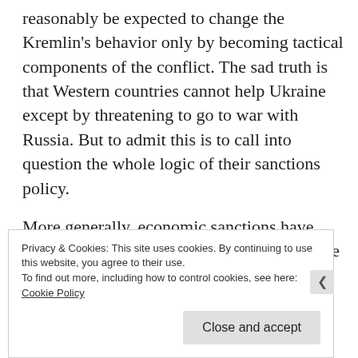reasonably be expected to change the Kremlin's behavior only by becoming tactical components of the conflict. The sad truth is that Western countries cannot help Ukraine except by threatening to go to war with Russia. But to admit this is to call into question the whole logic of their sanctions policy.
More generally, economic sanctions have become a greatly overused tool of preventive diplomacy. By cutting off parts of the world from international commerce, they promote the
Privacy & Cookies: This site uses cookies. By continuing to use this website, you agree to their use.
To find out more, including how to control cookies, see here: Cookie Policy
Close and accept